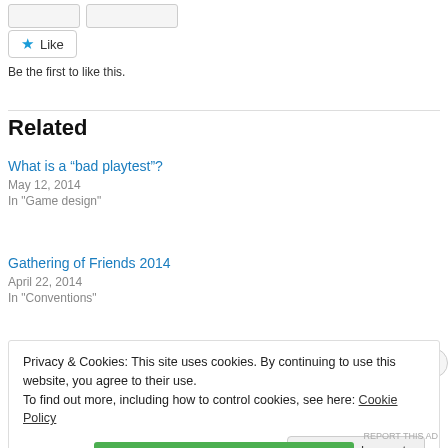[Figure (other): Two small UI button stubs at the top of the page]
[Figure (other): Like button with blue star icon]
Be the first to like this.
Related
What is a “bad playtest”?
May 12, 2014
In "Game design"
Gathering of Friends 2014
April 22, 2014
In "Conventions"
Privacy & Cookies: This site uses cookies. By continuing to use this website, you agree to their use.
To find out more, including how to control cookies, see here: Cookie Policy
Close and accept